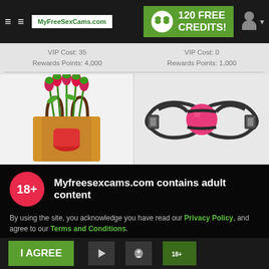MyFreeSexCams.com — 120 FREE CREDITS!
VIP Cost: 35
Rewards Points: 4,000
VIP Cost: 0
Rewards Points: 1,000
[Figure (photo): Bag of red tulips with a red vase]
[Figure (photo): Black leather ball gag restraint with pink ball]
Myfreesexcams.com contains adult content
By using the site, you acknowledge you have read our Privacy Policy, and agree to our Terms and Conditions.
We use cookies to optimize your experience, analyze traffic, and deliver more personalized service. To learn more, please see our Privacy Policy.
I AGREE